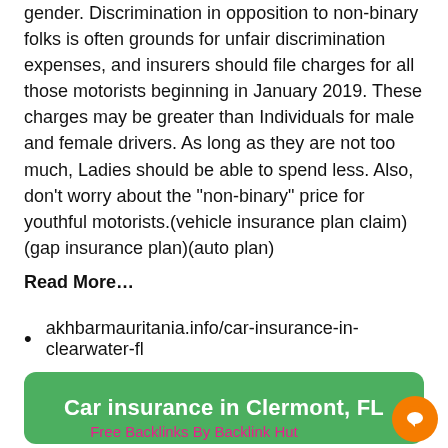gender. Discrimination in opposition to non-binary folks is often grounds for unfair discrimination expenses, and insurers should file charges for all those motorists beginning in January 2019. These charges may be greater than Individuals for male and female drivers. As long as they are not too much, Ladies should be able to spend less. Also, don't worry about the “non-binary” price for youthful motorists.(vehicle insurance plan claim)(gap insurance plan)(auto plan)
Read More...
akhbarmauritania.info/car-insurance-in-clearwater-fl
Car insurance in Clermont, FL
Free Backlinks By Backlink Hut